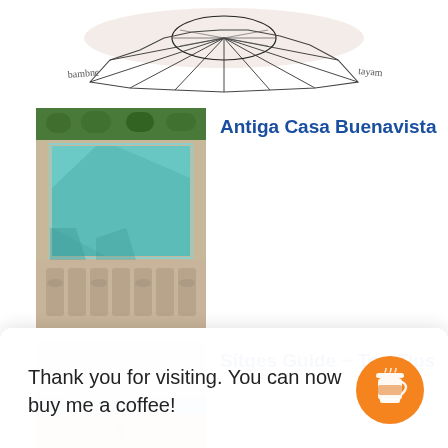[Figure (illustration): Architectural sketch drawing of a circular structure with radiating lines, handwritten annotations 'bambne' on the left and 'tayam' on the right]
[Figure (photo): Aerial photograph of a rectangular swimming pool with sun loungers arranged along one side, surrounded by paving]
Antiga Casa Buenavista
[Figure (photo): Partial aerial photograph showing a coastal/beach scene]
Sitges Guide ~ Top Tips
Thank you for visiting. You can now buy me a coffee!
[Figure (illustration): Orange circular coffee cup icon button]